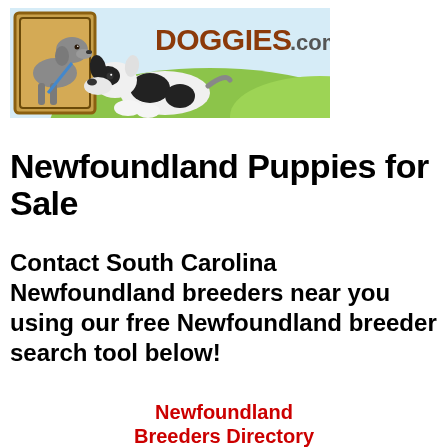[Figure (logo): Doggies.com logo banner with a gray Labrador dog in a brown/yellow frame on the left, a black and white puppy in the center, and green outdoor background with 'DOGGIES.com' text in brown/orange letters]
Newfoundland Puppies for Sale
Contact South Carolina Newfoundland breeders near you using our free Newfoundland breeder search tool below!
Newfoundland Breeders Directory